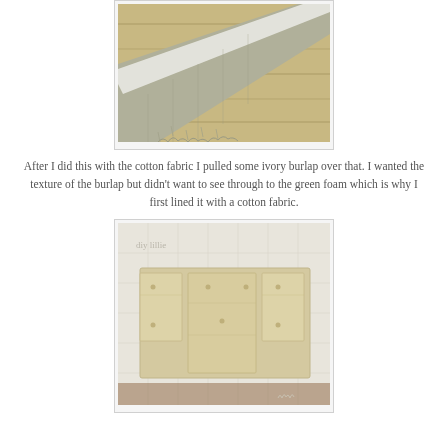[Figure (photo): Close-up photo of ivory/grey burlap fabric with frayed edge resting on a wooden surface, with white tape or trim visible]
After I did this with the cotton fabric I pulled some ivory burlap over that. I wanted the texture of the burlap but didn't want to see through to the green foam which is why I first lined it with a cotton fabric.
[Figure (photo): Photo of wooden board pieces laid flat on top of white/ivory burlap fabric on a wooden surface, with a watermark reading 'diy lillie']